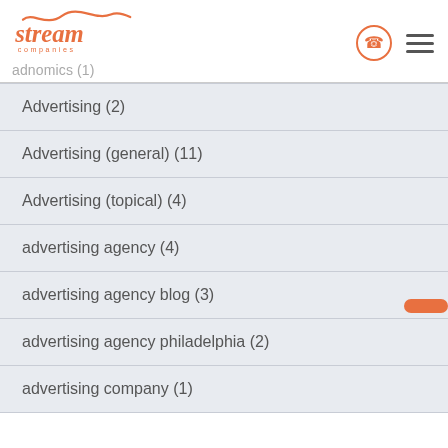[Figure (logo): Stream Companies logo in orange with wavy line above text and 'companies' below in spaced letters]
adnomics (1)
Advertising (2)
Advertising (general) (11)
Advertising (topical) (4)
advertising agency (4)
advertising agency blog (3)
advertising agency philadelphia (2)
advertising company (1)